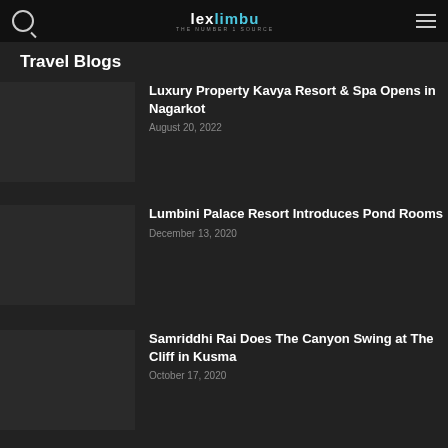lexlimbu THE NUMBER 1 SOURCE
Travel Blogs
Luxury Property Kavya Resort & Spa Opens in Nagarkot
August 20, 2022
Lumbini Palace Resort Introduces Pond Rooms
December 13, 2020
Samriddhi Rai Does The Canyon Swing at The Cliff in Kusma
October 17, 2020